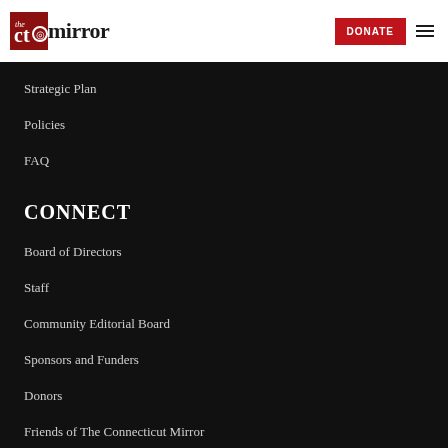The CT Mirror — DONATE [navigation menu]
Strategic Plan
Policies
FAQ
CONNECT
Board of Directors
Staff
Community Editorial Board
Sponsors and Funders
Donors
Friends of The Connecticut Mirror